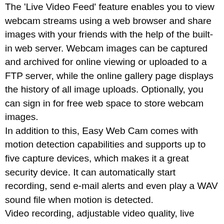The 'Live Video Feed' feature enables you to view webcam streams using a web browser and share images with your friends with the help of the built-in web server. Webcam images can be captured and archived for online viewing or uploaded to a FTP server, while the online gallery page displays the history of all image uploads. Optionally, you can sign in for free web space to store webcam images. In addition to this, Easy Web Cam comes with motion detection capabilities and supports up to five capture devices, which makes it a great security device. It can automatically start recording, send e-mail alerts and even play a WAV sound file when motion is detected. Video recording, adjustable video quality, live video feed, image compression, a built-in DynDns client and SmileCam support are other advantages that this application comes with. You can change the number of saved images and adjust the brightness and contrast levels of the captured image. A collection of graphic effects is also available and diverse output...